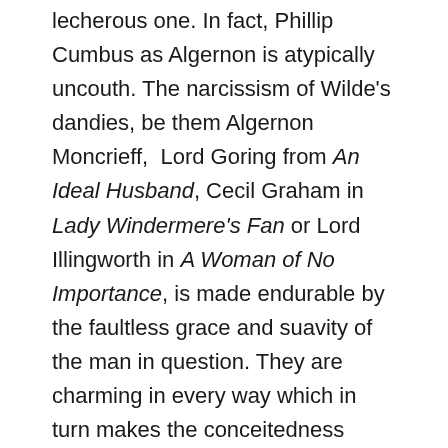lecherous one. In fact, Phillip Cumbus as Algernon is atypically uncouth. The narcissism of Wilde's dandies, be them Algernon Moncrieff, Lord Goring from An Ideal Husband, Cecil Graham in Lady Windermere's Fan or Lord Illingworth in A Woman of No Importance, is made endurable by the faultless grace and suavity of the man in question. They are charming in every way which in turn makes the conceitedness somehow endearing.
Naturally every actor and director must bring his or her own interpretations to a character rather than merely attempt to imitate their predecessors. But in Cumbus' case his representation of Algernon isn't so much creative as just plain wrong. In this